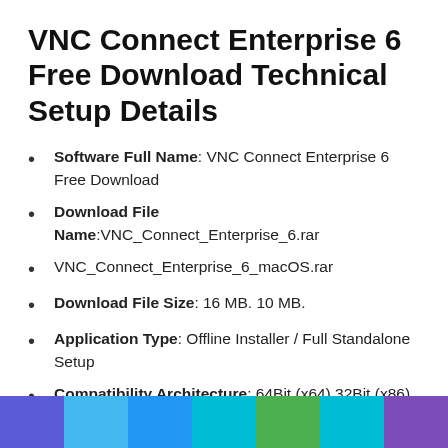VNC Connect Enterprise 6 Free Download Technical Setup Details
Software Full Name: VNC Connect Enterprise 6 Free Download
Download File Name:VNC_Connect_Enterprise_6.rar
VNC_Connect_Enterprise_6_macOS.rar
Download File Size: 16 MB. 10 MB.
Application Type: Offline Installer / Full Standalone Setup
Compatibility Architecture: 64Bit (x64) 32Bit (x86)
[Figure (infographic): Colored bar at bottom of page with 7 color segments: blue, light blue, bright blue, cyan, green, teal, purple]